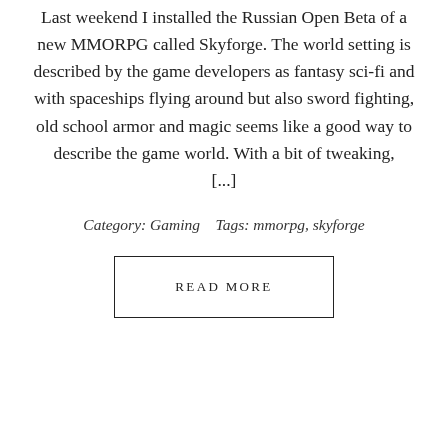Last weekend I installed the Russian Open Beta of a new MMORPG called Skyforge. The world setting is described by the game developers as fantasy sci-fi and with spaceships flying around but also sword fighting, old school armor and magic seems like a good way to describe the game world. With a bit of tweaking, [...]
Category: Gaming   Tags: mmorpg, skyforge
READ MORE